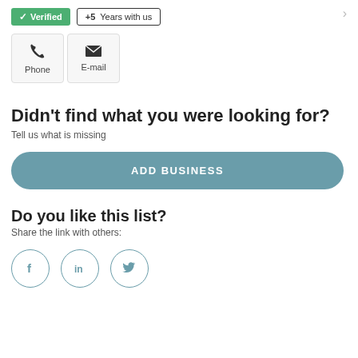✓ Verified  +5 Years with us
[Figure (infographic): Phone and E-mail contact buttons with icons]
Didn't find what you were looking for?
Tell us what is missing
ADD BUSINESS
Do you like this list?
Share the link with others:
[Figure (infographic): Social media share icons: Facebook, LinkedIn, Twitter in circular borders]